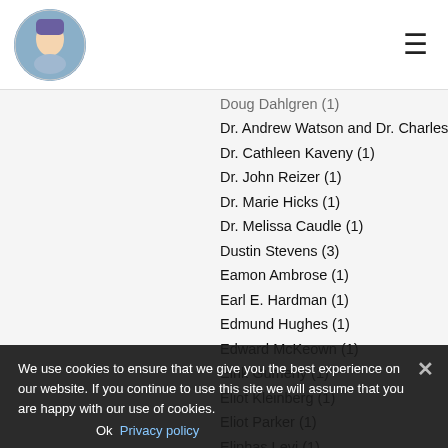Logo image and hamburger menu
Doug Dahlgren  (1)
Dr. Andrew Watson and Dr. Charles Watson, PhD  (1)
Dr. Cathleen Kaveny  (1)
Dr. John Reizer  (1)
Dr. Marie Hicks  (1)
Dr. Melissa Caudle  (1)
Dustin Stevens  (3)
Eamon Ambrose  (1)
Earl E. Hardman  (1)
Edmund Hughes  (1)
Edward McKeown  (1)
Eirik Gumeny  (1)
Eliot Kleinberg  (1)
Eliot Parker  (1)
Eliphas Levi  (1)
Elizabeth A. Lance  (4)
Ellen Gable  (1)
Ellen Harris  (1)
Ember Casey  (1)
We use cookies to ensure that we give you the best experience on our website. If you continue to use this site we will assume that you are happy with our use of cookies.
Ok   Privacy policy